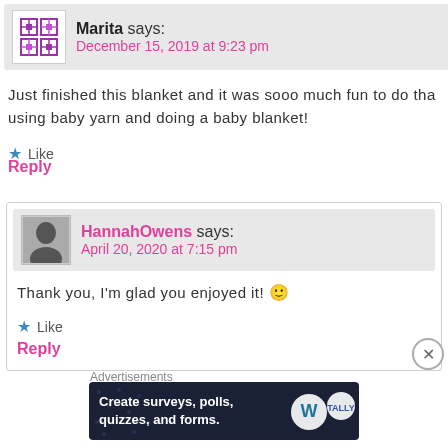Marita says:
December 15, 2019 at 9:23 pm
Just finished this blanket and it was sooo much fun to do tha… using baby yarn and doing a baby blanket!
★ Like
Reply
HannahOwens says:
April 20, 2020 at 7:15 pm
Thank you, I'm glad you enjoyed it! 🙂
★ Like
Reply
Advertisements
[Figure (infographic): Dark navy advertisement banner: 'Create surveys, polls, quizzes, and forms.' with WordPress and another logo on the right]